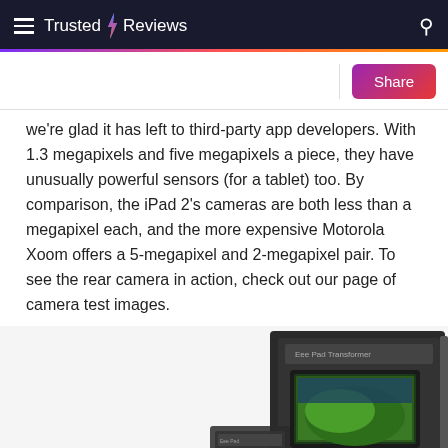Trusted Reviews
we're glad it has left to third-party app developers. With 1.3 megapixels and five megapixels a piece, they have unusually powerful sensors (for a tablet) too. By comparison, the iPad 2's cameras are both less than a megapixel each, and the more expensive Motorola Xoom offers a 5-megapixel and 2-megapixel pair. To see the rear camera in action, check out our page of camera test images.
[Figure (photo): Product box of the Asus Eee Pad Transformer tablet, shown from a slight angle with the tablet visible inside the packaging]